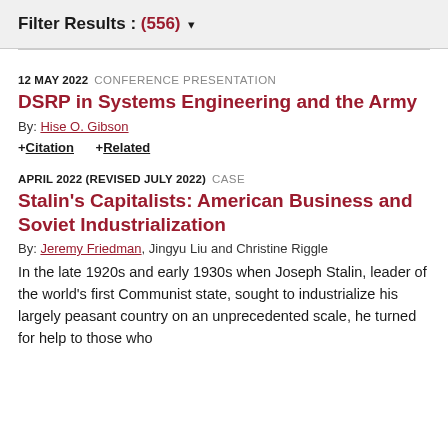Filter Results : (556) ▾
12 MAY 2022  CONFERENCE PRESENTATION
DSRP in Systems Engineering and the Army
By: Hise O. Gibson
+ Citation   + Related
APRIL 2022 (REVISED JULY 2022)  CASE
Stalin's Capitalists: American Business and Soviet Industrialization
By: Jeremy Friedman, Jingyu Liu and Christine Riggle
In the late 1920s and early 1930s when Joseph Stalin, leader of the world's first Communist state, sought to industrialize his largely peasant country on an unprecedented scale, he turned for help to those who